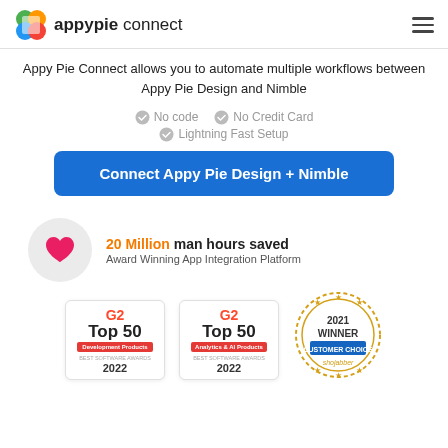appypie connect
Appy Pie Connect allows you to automate multiple workflows between Appy Pie Design and Nimble
No code
No Credit Card
Lightning Fast Setup
Connect Appy Pie Design + Nimble
20 Million man hours saved
Award Winning App Integration Platform
[Figure (logo): G2 Top 50 Development Products Best Software Awards 2022 badge]
[Figure (logo): G2 Top 50 Analytics & AI Products Best Software Awards 2022 badge]
[Figure (logo): 2021 Winner Customer Choice Shojabber badge]